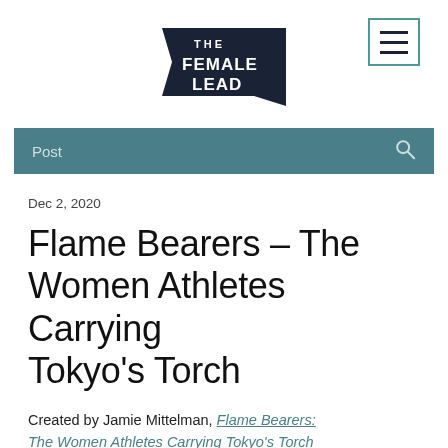THE FEMALE LEAD [logo] [menu button]
[Figure (logo): The Female Lead logo — dark navy banner shape with white text reading THE FEMALE LEAD]
Post
Dec 2, 2020
Flame Bearers - The Women Athletes Carrying Tokyo's Torch
Created by Jamie Mittelman, Flame Bearers: The Women Athletes Carrying Tokyo's Torch is a new podcast which spotlights female